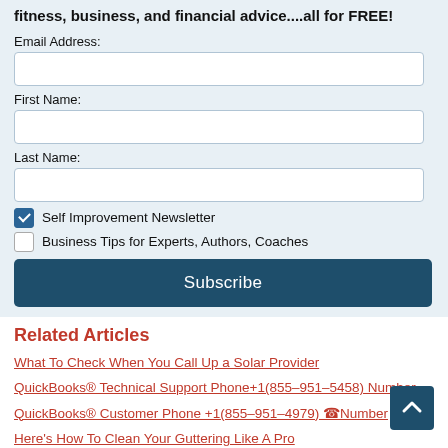fitness, business, and financial advice....all for FREE!
Email Address:
First Name:
Last Name:
Self Improvement Newsletter
Business Tips for Experts, Authors, Coaches
Subscribe
Related Articles
What To Check When You Call Up a Solar Provider
QuickBooks® Technical Support Phone+1(855–951–5458) Number
QuickBooks® Customer Phone +1(855–951–4979) ☎Number
Here's How To Clean Your Guttering Like A Pro
The story of co-creation of our Space of Love